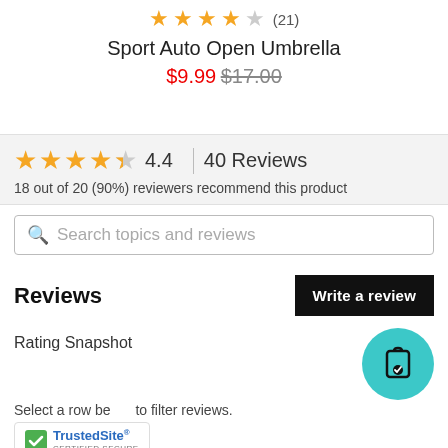[Figure (other): Star rating row showing 4 filled stars and 1 empty star with review count (21)]
Sport Auto Open Umbrella
$9.99 $17.00
4.4  |  40 Reviews
18 out of 20 (90%) reviewers recommend this product
Search topics and reviews
Reviews
Write a review
Rating Snapshot
Select a row below to filter reviews.
[Figure (logo): TrustedSite Certified Secure badge]